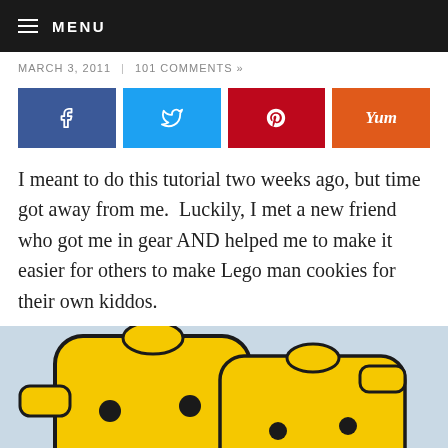MENU
MARCH 3, 2011  |  101 COMMENTS »
[Figure (other): Social share buttons: Facebook (blue), Twitter (light blue), Pinterest (red), Yummly (orange)]
I meant to do this tutorial two weeks ago, but time got away from me.  Luckily, I met a new friend who got me in gear AND helped me to make it easier for others to make Lego man cookies for their own kiddos.
[Figure (photo): Photo of yellow Lego man-shaped cookies with black outlines, on a light blue/grey background. Close-up showing the face details of two Lego man cookies.]